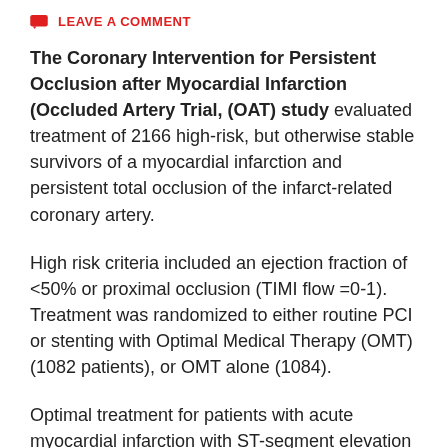LEAVE A COMMENT
The Coronary Intervention for Persistent Occlusion after Myocardial Infarction (Occluded Artery Trial, (OAT) study evaluated treatment of 2166 high-risk, but otherwise stable survivors of a myocardial infarction and persistent total occlusion of the infarct-related coronary artery.
High risk criteria included an ejection fraction of <50% or proximal occlusion (TIMI flow =0-1). Treatment was randomized to either routine PCI or stenting with Optimal Medical Therapy (OMT) (1082 patients), or OMT alone (1084).
Optimal treatment for patients with acute myocardial infarction with ST-segment elevation (STEMI) includes early reperfusion with primary